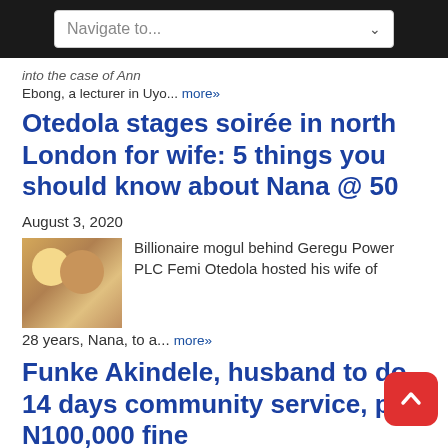[Figure (screenshot): Navigation dropdown bar with 'Navigate to...' placeholder text on dark background]
into the case of Ann Ebong, a lecturer in Uyo... more»
Otedola stages soirée in north London for wife: 5 things you should know about Nana @ 50
August 3, 2020
Billionaire mogul behind Geregu Power PLC Femi Otedola hosted his wife of 28 years, Nana, to a... more»
Funke Akindele, husband to do 14 days community service, pay N100,000 fine